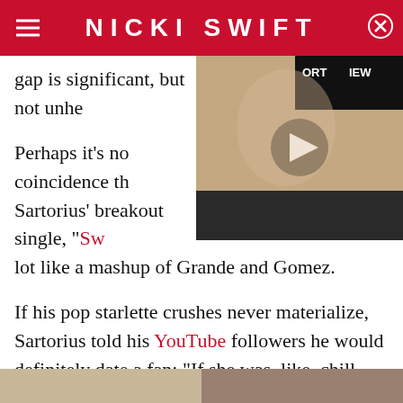NICKI SWIFT
gap is significant, but not unhe
[Figure (photo): Young male celebrity (Justin Bieber) at a press event with a play button overlay indicating a video thumbnail]
Perhaps it's no coincidence th Sartorius' breakout single, "Sw lot like a mashup of Grande and Gomez.
If his pop starlette crushes never materialize, Sartorius told his YouTube followers he would definitely date a fan: "If she was, like, chill, and if I got to know her well, and she had a nice personality, then we can date, I guess, yeah."
He's not scandal-free
[Figure (photo): Bottom portion of page showing a cropped photo]